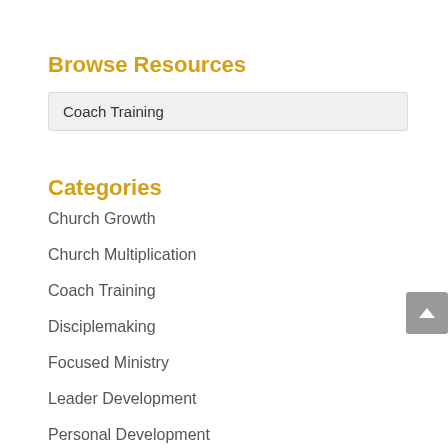Browse Resources
Coach Training
Categories
Church Growth
Church Multiplication
Coach Training
Disciplemaking
Focused Ministry
Leader Development
Personal Development
Uncategorized